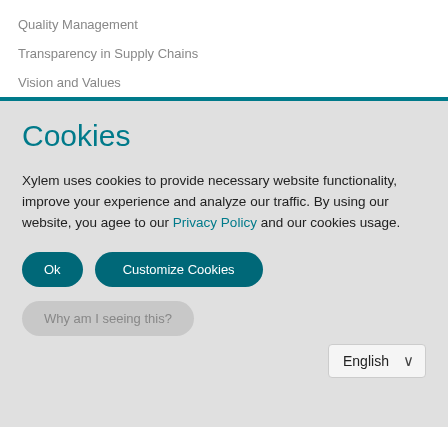Quality Management
Transparency in Supply Chains
Vision and Values
Cookies
Xylem uses cookies to provide necessary website functionality, improve your experience and analyze our traffic. By using our website, you agee to our Privacy Policy and our cookies usage.
Ok
Customize Cookies
Why am I seeing this?
English